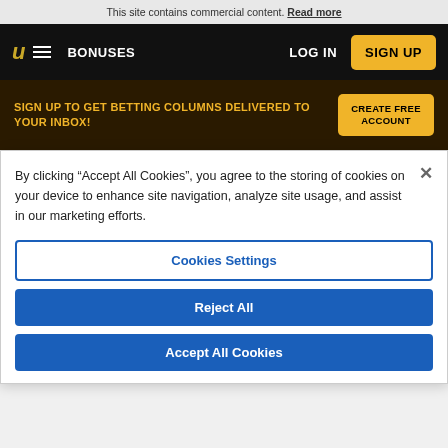This site contains commercial content. Read more
[Figure (screenshot): Navigation bar with logo, hamburger menu, BONUSES link, LOG IN and SIGN UP button on black background]
SIGN UP TO GET BETTING COLUMNS DELIVERED TO YOUR INBOX!
CREATE FREE ACCOUNT
By clicking “Accept All Cookies”, you agree to the storing of cookies on your device to enhance site navigation, analyze site usage, and assist in our marketing efforts.
Cookies Settings
Reject All
Accept All Cookies